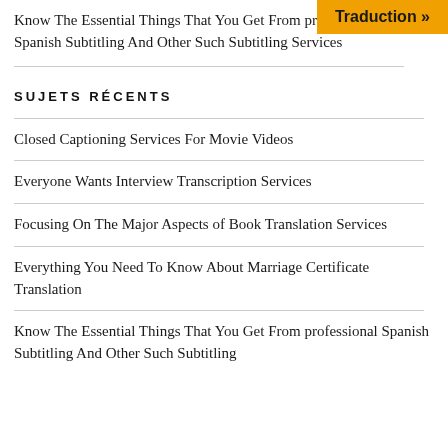[Figure (other): Orange banner with 'Traduction »' text in top-right corner]
Know The Essential Things That You Get From professional Spanish Subtitling And Other Such Subtitling Services
SUJETS RÉCENTS
Closed Captioning Services For Movie Videos
Everyone Wants Interview Transcription Services
Focusing On The Major Aspects of Book Translation Services
Everything You Need To Know About Marriage Certificate Translation
Know The Essential Things That You Get From professional Spanish Subtitling And Other Such Subtitling